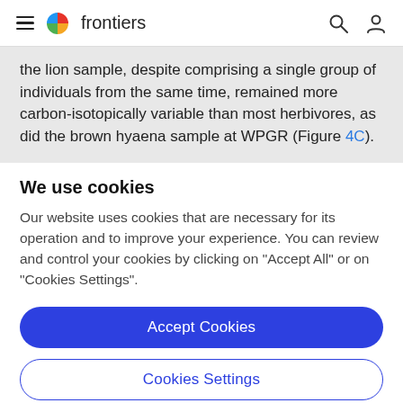frontiers
the lion sample, despite comprising a single group of individuals from the same time, remained more carbon-isotopically variable than most herbivores, as did the brown hyaena sample at WPGR (Figure 4C).
We use cookies
Our website uses cookies that are necessary for its operation and to improve your experience. You can review and control your cookies by clicking on "Accept All" or on "Cookies Settings".
Accept Cookies
Cookies Settings